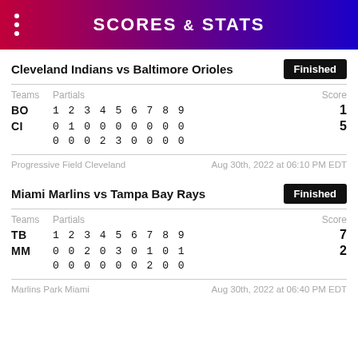SCORES & STATS
Cleveland Indians vs Baltimore Orioles
Finished
| Teams | Partials | Score |
| --- | --- | --- |
| BO | 1 2 3 4 5 6 7 8 9 | 1 |
| CI | 0 1 0 0 0 0 0 0 0 | 5 |
|  | 0 0 0 2 3 0 0 0 0 |  |
Progressive Field Cleveland    Aug 30th, 2022 at 06:10 PM EDT
Miami Marlins vs Tampa Bay Rays
Finished
| Teams | Partials | Score |
| --- | --- | --- |
| TB | 1 2 3 4 5 6 7 8 9 | 7 |
| MM | 0 0 2 0 3 0 1 0 1 | 2 |
|  | 0 0 0 0 0 0 2 0 0 |  |
Marlins Park Miami    Aug 30th, 2022 at 06:40 PM EDT